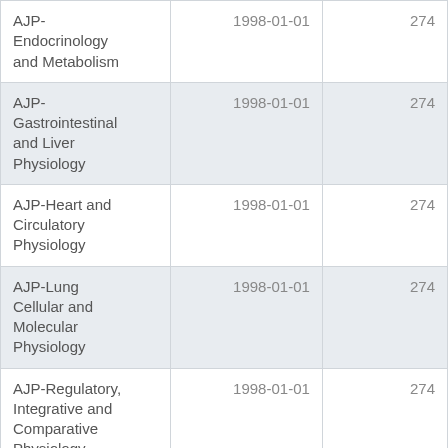| Journal | Date | Value |
| --- | --- | --- |
| AJP-Endocrinology and Metabolism | 1998-01-01 | 274 |
| AJP-Gastrointestinal and Liver Physiology | 1998-01-01 | 274 |
| AJP-Heart and Circulatory Physiology | 1998-01-01 | 274 |
| AJP-Lung Cellular and Molecular Physiology | 1998-01-01 | 274 |
| AJP-Regulatory, Integrative and Comparative Physiology | 1998-01-01 | 274 |
| AJP-Renal | 1998-01-01 | 274 |